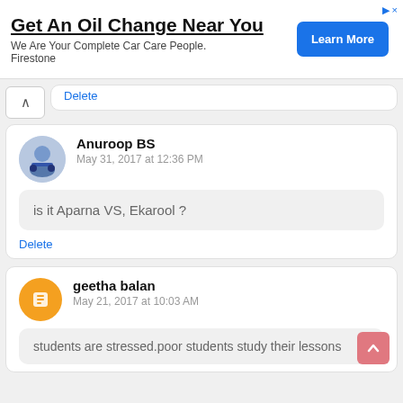[Figure (screenshot): Advertisement banner: Get An Oil Change Near You - Firestone, with Learn More button]
Delete
Anuroop BS
May 31, 2017 at 12:36 PM
is it Aparna VS, Ekarool ?
Delete
geetha balan
May 21, 2017 at 10:03 AM
students are stressed.poor students study their lessons